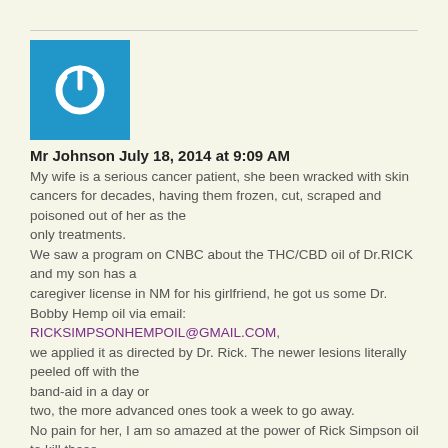[Figure (logo): Blue square avatar with white power button icon]
Mr Johnson July 18, 2014 at 9:09 AM
My wife is a serious cancer patient, she been wracked with skin cancers for decades, having them frozen, cut, scraped and poisoned out of her as the only treatments.
We saw a program on CNBC about the THC/CBD oil of Dr.RICK and my son has a caregiver license in NM for his girlfriend, he got us some Dr. Bobby Hemp oil via email: RICKSIMPSONHEMPOIL@GMAIL.COM, we applied it as directed by Dr. Rick. The newer lesions literally peeled off with the band-aid in a day or two, the more advanced ones took a week to go away.
No pain for her, I am so amazed at the power of Rick Simpson oil to kill these terrible cancers. Given, there are worse cancers to have but the last time she went to the skin doctor a few weeks ago, he cut and burned dozens off her body, each leaving a gaping hole that was painful, and required